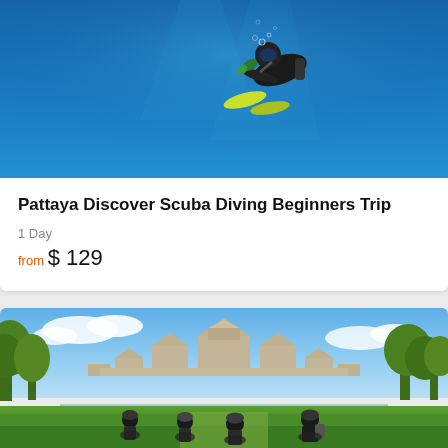[Figure (photo): Scuba diver underwater in blue water, viewed from below, with dive equipment and yellow fins visible]
Pattaya Discover Scuba Diving Beginners Trip
1 Day
from $ 129
[Figure (photo): Group of cyclists with helmets viewed from behind, looking at Angkor Wat temple complex (Bayon temple) in Cambodia, surrounded by trees and green landscape]